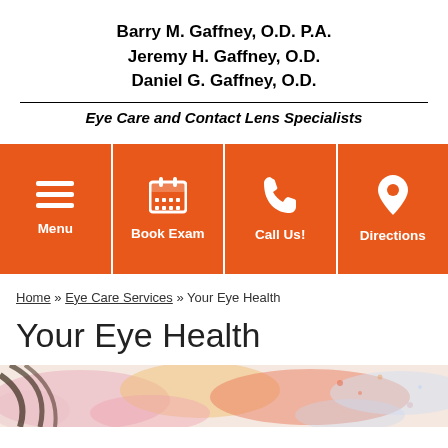Barry M. Gaffney, O.D. P.A.
Jeremy H. Gaffney, O.D.
Daniel G. Gaffney, O.D.
Eye Care and Contact Lens Specialists
[Figure (infographic): Orange navigation bar with four tiles: Menu (hamburger icon), Book Exam (calendar icon), Call Us! (phone icon), Directions (map pin icon)]
Home » Eye Care Services » Your Eye Health
Your Eye Health
[Figure (illustration): Watercolor-style illustration showing a partial face with colorful paint splashes in pink, orange, yellow, and blue tones]